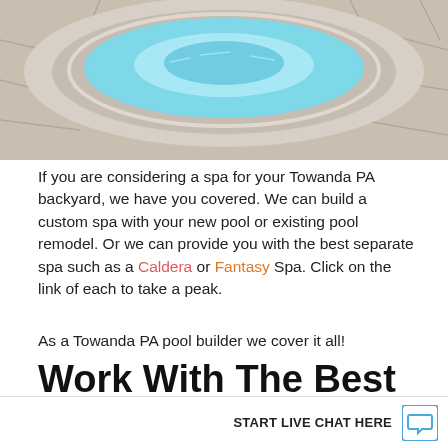[Figure (photo): Aerial/close-up view of a circular spa or hot tub with light blue water and stone/tile surround]
If you are considering a spa for your Towanda PA backyard, we have you covered. We can build a custom spa with your new pool or existing pool remodel. Or we can provide you with the best separate spa such as a Caldera or Fantasy Spa. Click on the link of each to take a peak.
As a Towanda PA pool builder we cover it all!
Work With The Best Pool Builder in Towanda, PA
Whether you want an inground or above ground, getting a pool is an excellent a…